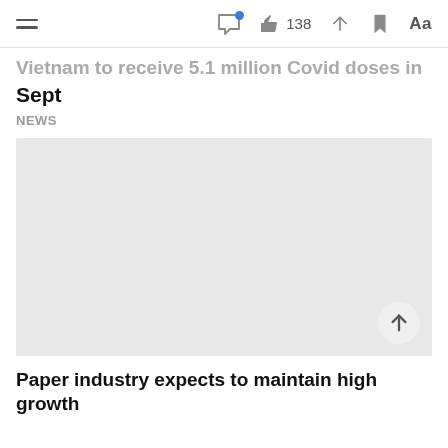[hamburger menu] [comment icon with notification] 138 [share] [bookmark] Aa
Vietnam to receive 5.1 million Covid doses in Sept
NEWS
[Figure (photo): Gray placeholder image for article photo]
Paper industry expects to maintain high growth